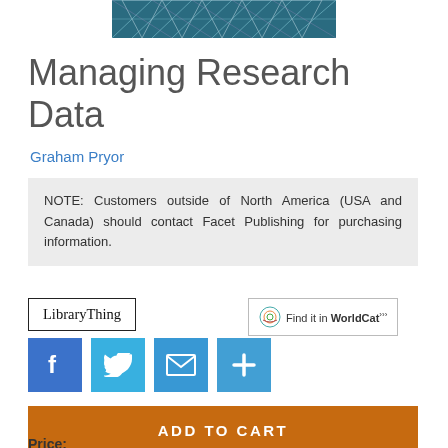[Figure (illustration): Teal geometric network/triangle pattern header image]
Managing Research Data
Graham Pryor
NOTE: Customers outside of North America (USA and Canada) should contact Facet Publishing for purchasing information.
[Figure (logo): LibraryThing badge/logo]
[Figure (logo): Find it in WorldCat badge]
[Figure (infographic): Social share buttons: Facebook, Twitter, Email, Add (plus)]
ADD TO CART
Price: